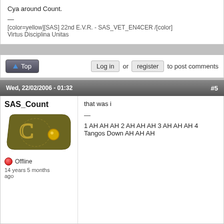Cya around Count.
—
[color=yellow][SAS] 22nd E.V.R. - SAS_VET_EN4CER /[color]
Virtus Disciplina Unitas
↑ Top   Log in or register to post comments
Wed, 22/02/2006 - 01:32   #5
SAS_Count
[Figure (illustration): Military rank insignia badge - dark olive/brown shoulder patch with golden wreath 'C' symbol and yellow dot]
Offline
14 years 5 months ago
that was i
—
1 AH AH AH 2 AH AH AH 3 AH AH AH 4 Tangos Down AH AH AH